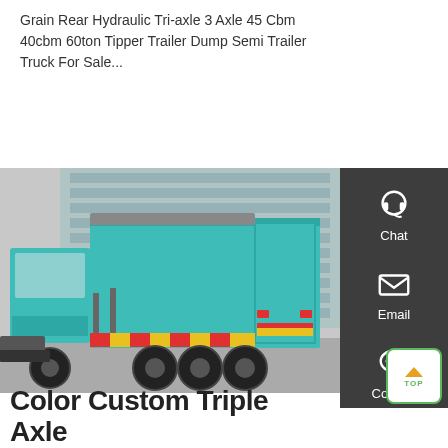Grain Rear Hydraulic Tri-axle 3 Axle 45 Cbm 40cbm 60ton Tipper Trailer Dump Semi Trailer Truck For Sale...
[Figure (photo): A teal/cyan colored tri-axle dump semi trailer truck photographed from the rear-side angle in front of a glass building]
Color Custom Triple Axle